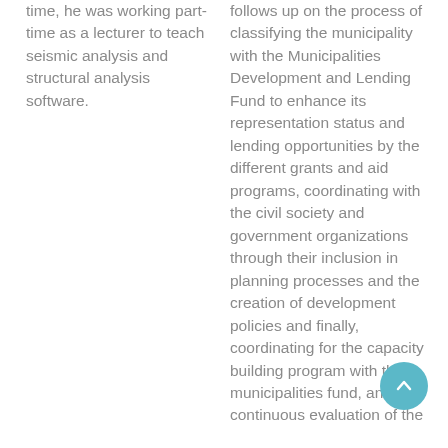time, he was working part-time as a lecturer to teach seismic analysis and structural analysis software.
follows up on the process of classifying the municipality with the Municipalities Development and Lending Fund to enhance its representation status and lending opportunities by the different grants and aid programs, coordinating with the civil society and government organizations through their inclusion in planning processes and the creation of development policies and finally, coordinating for the capacity building program with the municipalities fund, and continuous evaluation of the